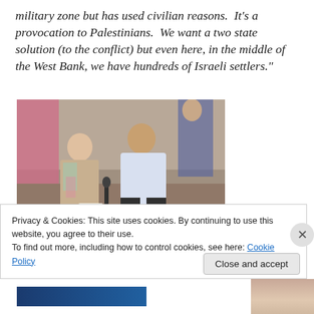military zone but has used civilian reasons.  It's a provocation to Palestinians.  We want a two state solution (to the conflict) but even here, in the middle of the West Bank, we have hundreds of Israeli settlers."
[Figure (photo): A woman interviewing a man seated on rubble outdoors in what appears to be a Middle Eastern street setting. A person is visible in the background.]
Privacy & Cookies: This site uses cookies. By continuing to use this website, you agree to their use.
To find out more, including how to control cookies, see here: Cookie Policy
Close and accept